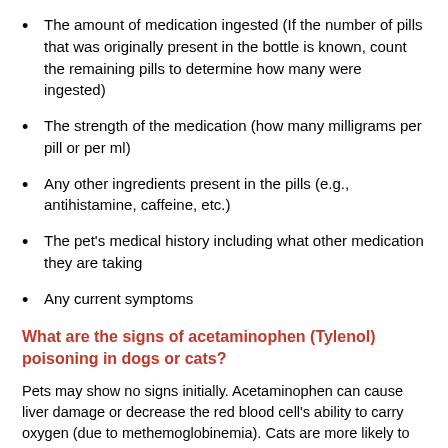The amount of medication ingested (If the number of pills that was originally present in the bottle is known, count the remaining pills to determine how many were ingested)
The strength of the medication (how many milligrams per pill or per ml)
Any other ingredients present in the pills (e.g., antihistamine, caffeine, etc.)
The pet's medical history including what other medication they are taking
Any current symptoms
What are the signs of acetaminophen (Tylenol) poisoning in dogs or cats?
Pets may show no signs initially. Acetaminophen can cause liver damage or decrease the red blood cell's ability to carry oxygen (due to methemoglobinemia). Cats are more likely to develop early red blood cell changes while dogs are more likely to develop liver damage. Depending upon the dose, both red blood cell changes and liver damage may occur in either species.
Red blood cell changes can occur within 4-12 hours. Pets may become weak and depressed. They also may stop eating and